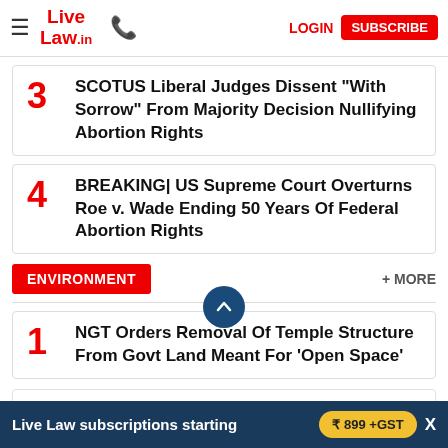Live Law — LOGIN | SUBSCRIBE
3 SCOTUS Liberal Judges Dissent "With Sorrow" From Majority Decision Nullifying Abortion Rights
4 BREAKING| US Supreme Court Overturns Roe v. Wade Ending 50 Years Of Federal Abortion Rights
ENVIRONMENT
+ MORE
1 NGT Orders Removal Of Temple Structure From Govt Land Meant For 'Open Space'
2 Supreme Court Explai... Meaning Of "Forests": Without Prior Approval From Central Govt
Live Law subscriptions starting ₹ 899 +GST  X